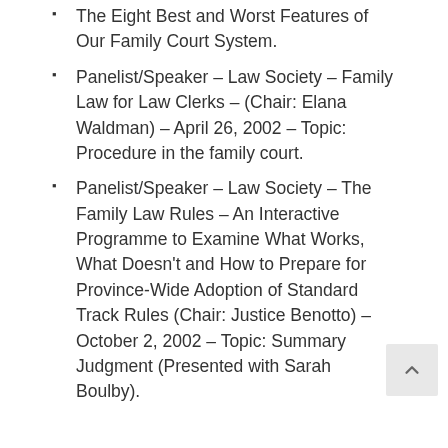The Eight Best and Worst Features of Our Family Court System.
Panelist/Speaker – Law Society – Family Law for Law Clerks – (Chair: Elana Waldman) – April 26, 2002 – Topic: Procedure in the family court.
Panelist/Speaker – Law Society – The Family Law Rules – An Interactive Programme to Examine What Works, What Doesn't and How to Prepare for Province-Wide Adoption of Standard Track Rules (Chair: Justice Benotto) – October 2, 2002 – Topic: Summary Judgment (Presented with Sarah Boulby).
BAR ADMISSIONS
Ontario, 1995